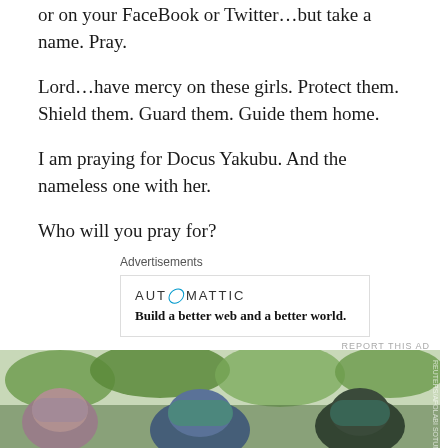or on your FaceBook or Twitter…but take a name. Pray.
Lord…have mercy on these girls. Protect them. Shield them. Guard them. Guide them home.
I am praying for Docus Yakubu. And the nameless one with her.
Who will you pray for?
Advertisements
[Figure (other): Automattic advertisement: logo with blue circle-A, tagline 'Build a better web and a better world.']
REPORT THIS AD
[Figure (photo): Photo of women wearing headscarves outdoors with trees in background]